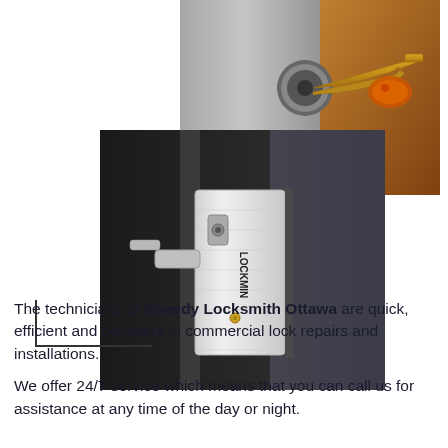[Figure (photo): Close-up photo of keys in a door lock/cylinder, showing brass keys with an orange fob, against a metal door surface. Top right of page.]
[Figure (photo): Close-up photo of a commercial door lock hardware (Lockmin brand), showing a brushed silver/white lock plate/handle attached to a glass door frame with a dark background.]
The technicians at Speedy Locksmith Ottawa are quick, efficient and confident in commercial lock repairs and installations.
We offer 24/7 service which means that you can call us for assistance at any time of the day or night.